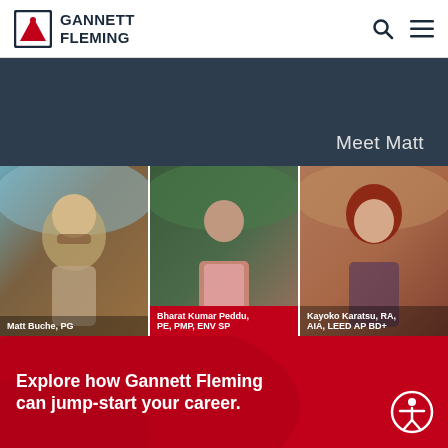Gannett Fleming logo with search and menu icons
[Figure (logo): Gannett Fleming logo with red triangle icon and company name in dark navy text]
Meet Matt
[Figure (photo): Photo of Matt Buche, PG — a bearded man outdoors]
Matt Buche, PG
[Figure (photo): Photo of Bharat Kumar Peddu, PE, PMP, ENV SP — a man in pink blazer outdoors]
Bharat Kumar Peddu, PE, PMP, ENV SP
[Figure (photo): Photo of Kayoko Karatsu, RA, AIA, LEED AP BD+ — a woman with red hair]
Kayoko Karatsu, RA, AIA, LEED AP BD+
Explore how Gannett Fleming can jump-start your career.